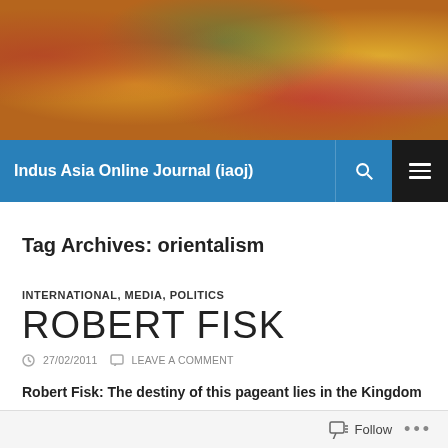[Figure (photo): Colorful textile and craft items displayed at a market or bazaar, featuring embroidered pillows and decorative objects in vibrant colors]
Indus Asia Online Journal (iaoj)
Tag Archives: orientalism
INTERNATIONAL, MEDIA, POLITICS
ROBERT FISK
27/02/2011   LEAVE A COMMENT
Robert Fisk: The destiny of this pageant lies in the Kingdom